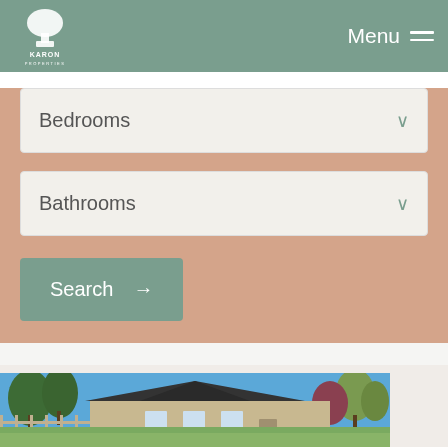KARON PROPERTIES — Menu navigation header
Bedrooms (dropdown)
Bathrooms (dropdown)
Search →
[Figure (photo): Exterior photo of a single-story residential home with tan/beige siding, multiple roof peaks, and surrounded by trees under a clear blue sky.]